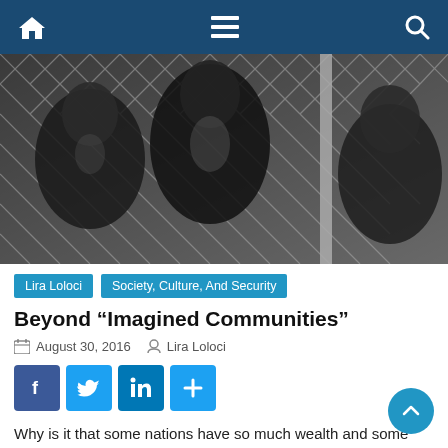Navigation bar with home, menu, and search icons
[Figure (photo): Black and white photograph of people — adults and a child — looking through a chain-link fence.]
Lira Loloci | Society, Culture, And Security
Beyond “Imagined Communities”
August 30, 2016  Lira Loloci
[Figure (infographic): Social share buttons: Facebook, Twitter, LinkedIn, and a plus/share button]
Why is it that some nations have so much wealth and some are poor? Do current economic formations have roots in